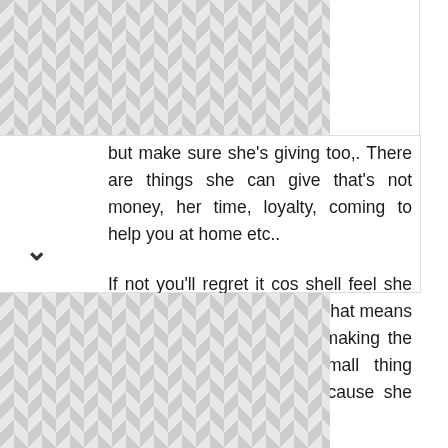[Figure (other): Geometric diamond/triangle tile pattern background at top]
but make sure she's giving too,. There are things she can give that's not money, her time, loyalty, coming to help you at home etc..

If not you'll regret it cos shell feel she hasn't made any sacrifice,. That means she won't put in efforts to making the relationship work,. Any small thing shell threaten to end it because she knows it's you that will lose..
If you like play yourself 🤷
[Figure (other): Geometric diamond/triangle tile pattern background at bottom]